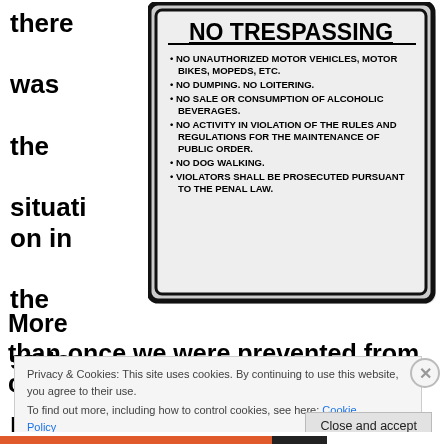there was the situation in the state parks.
[Figure (photo): A No Trespassing sign with bullet points listing: No unauthorized motor vehicles, motor bikes, mopeds, etc. No dumping. No loitering. No sale or consumption of alcoholic beverages. No activity in violation of the rules and regulations for the maintenance of public order. No dog walking. Violators shall be prosecuted pursuant to the penal law.]
More than once we were prevented from camping for a
Privacy & Cookies: This site uses cookies. By continuing to use this website, you agree to their use. To find out more, including how to control cookies, see here: Cookie Policy
Close and accept